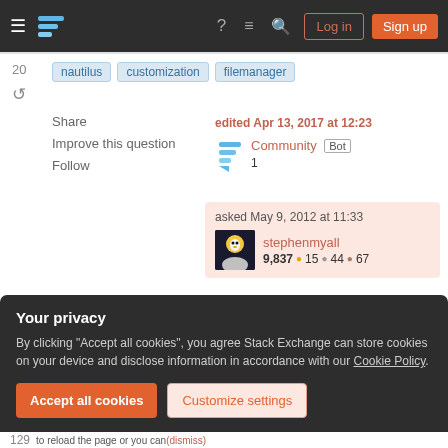Stack Exchange navigation bar with Log in and Sign up buttons
20
nautilus  customization  filemanager
Share
Improve this question
Follow
edited Apr 13, 2017 at 12:23
Community Bot
1
asked May 9, 2012 at 11:33
stephenmyall
9,837 ● 15 ● 44 ● 67
Add a comment
Your privacy
By clicking "Accept all cookies", you agree Stack Exchange can store cookies on your device and disclose information in accordance with our Cookie Policy.
Accept all cookies  Customize settings
129